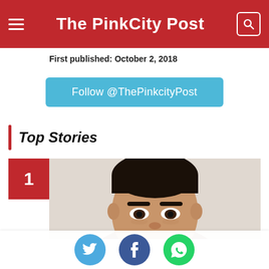The PinkCity Post
First published: October 2, 2018
Follow @ThePinkcityPost
Top Stories
[Figure (photo): Portrait photo of a man with dark hair, partial face visible showing eyes and forehead, sitting in front of a light background]
[Figure (other): Social share buttons: Twitter (blue), Facebook (dark blue), WhatsApp (green)]